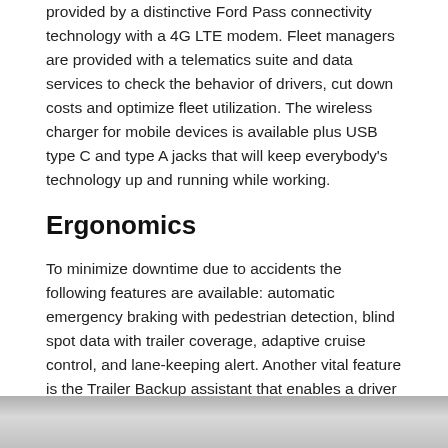provided by a distinctive Ford Pass connectivity technology with a 4G LTE modem. Fleet managers are provided with a telematics suite and data services to check the behavior of drivers, cut down costs and optimize fleet utilization. The wireless charger for mobile devices is available plus USB type C and type A jacks that will keep everybody's technology up and running while working.
Ergonomics
To minimize downtime due to accidents the following features are available: automatic emergency braking with pedestrian detection, blind spot data with trailer coverage, adaptive cruise control, and lane-keeping alert. Another vital feature is the Trailer Backup assistant that enables a driver to steer a reversing trailer using a knob.
Upgraded interior and exterior design
[Figure (photo): Partial view of a vehicle, likely a Ford truck, shown at the bottom of the page]